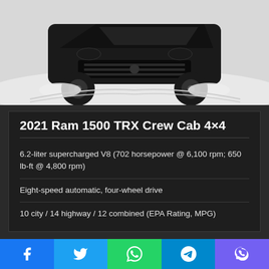[Figure (photo): 2021 Ram 1500 TRX truck driving through snow, front view]
2021 Ram 1500 TRX Crew Cab 4×4
6.2-liter supercharged V8 (702 horsepower @ 6,100 rpm; 650 lb-ft @ 4,800 rpm)
Eight-speed automatic, four-wheel drive
10 city / 14 highway / 12 combined (EPA Rating, MPG)